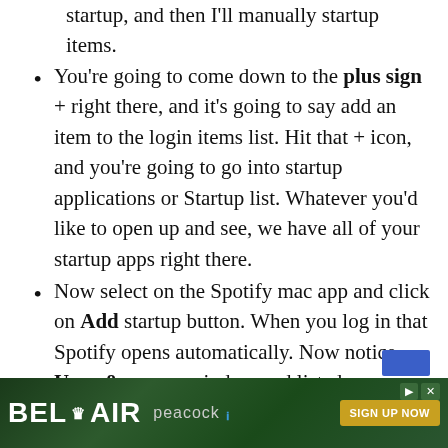startup, and then I'll manually startup items.
You're going to come down to the plus sign + right there, and it's going to say add an item to the login items list. Hit that + icon, and you're going to go into startup applications or Startup list. Whatever you'd like to open up and see, we have all of your startup apps right there.
Now select on the Spotify mac app and click on Add startup button. When you log in that Spotify opens automatically. Now notice Users&groups window and listed automatic startup program.
[Figure (screenshot): Advertisement banner for Bel-Air on Peacock with 'SIGN UP NOW' button]